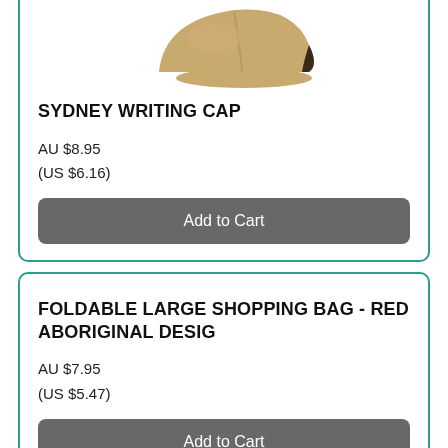[Figure (photo): Tan/khaki baseball cap product image, partially visible at the top of the first product card]
SYDNEY WRITING CAP
AU $8.95
(US $6.16)
Add to Cart
FOLDABLE LARGE SHOPPING BAG - RED ABORIGINAL DESIG
AU $7.95
(US $5.47)
Add to Cart